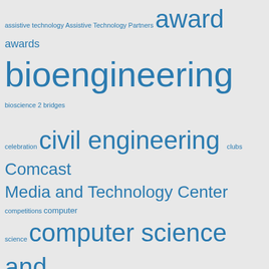[Figure (infographic): Tag cloud with education-related keywords in varying sizes, all in teal/blue color on light gray background. Terms include: assistive technology, Assistive Technology Partners, award, awards, bioengineering, bioscience 2, bridges, celebration, civil engineering, clubs, Comcast Media and Technology Center, competitions, computer science, computer science and engineering, conferences, construction engineering and management, cornell cup, CU Anschutz, CU Anschutz Medical Campus, CU Denver, CU in the City, cyber security, dean's office, design innovation, Dr. Richard Weir, Dr. Shandas, electrical engineering, ESIL, faculty, Fulbright, graduate students, graduation, grant, hyperlynx, IEEE, in the news, inworks, ite, Kendall Hunter, Magin Lab, mechanical]